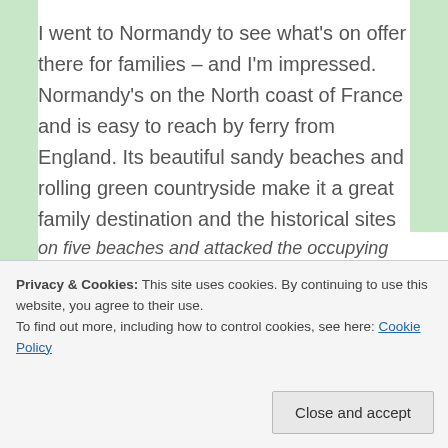I went to Normandy to see what's on offer there for families – and I'm impressed. Normandy's on the North coast of France and is easy to reach by ferry from England. Its beautiful sandy beaches and rolling green countryside make it a great family destination and the historical sites (particularly relating to D-Day) add another dimension, especially with so many of our children studying WWII at school.
Privacy & Cookies: This site uses cookies. By continuing to use this website, you agree to their use. To find out more, including how to control cookies, see here: Cookie Policy
on five beaches and attacked the occupying